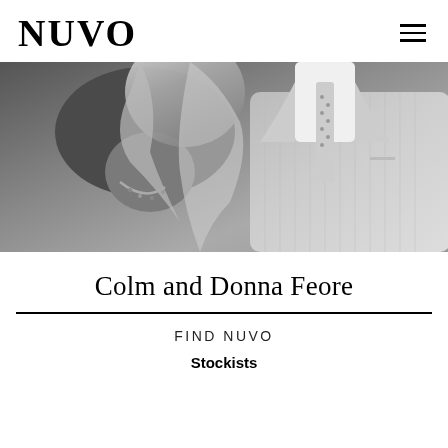NUVO
[Figure (photo): Black and white close-up photo of a woman and a man in formal attire. The woman has blonde wavy hair and a necklace; the man wears a pinstripe suit with a dotted tie.]
Colm and Donna Feore
FIND NUVO
Stockists